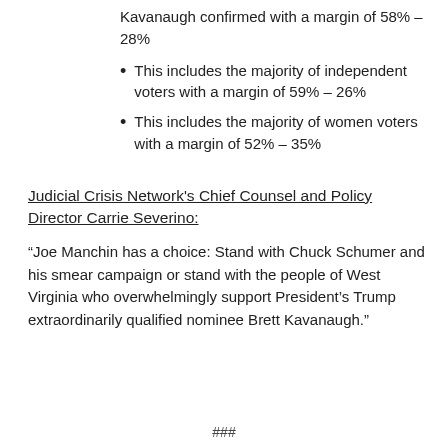Kavanaugh confirmed with a margin of 58% – 28%
This includes the majority of independent voters with a margin of 59% – 26%
This includes the majority of women voters with a margin of 52% – 35%
Judicial Crisis Network's Chief Counsel and Policy Director Carrie Severino:
“Joe Manchin has a choice: Stand with Chuck Schumer and his smear campaign or stand with the people of West Virginia who overwhelmingly support President’s Trump extraordinarily qualified nominee Brett Kavanaugh.”
###